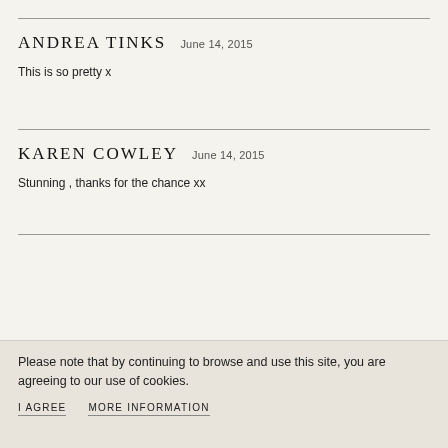ANDREA TINKS   June 14, 2015
This is so pretty x
KAREN COWLEY   June 14, 2015
Stunning , thanks for the chance xx
Please note that by continuing to browse and use this site, you are agreeing to our use of cookies.
I AGREE   MORE INFORMATION